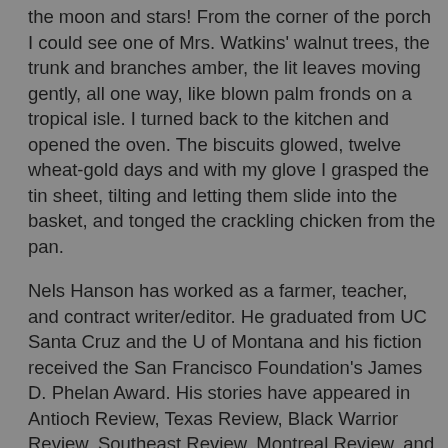the moon and stars! From the corner of the porch I could see one of Mrs. Watkins' walnut trees, the trunk and branches amber, the lit leaves moving gently, all one way, like blown palm fronds on a tropical isle. I turned back to the kitchen and opened the oven. The biscuits glowed, twelve wheat-gold days and with my glove I grasped the tin sheet, tilting and letting them slide into the basket, and tonged the crackling chicken from the pan.
Nels Hanson has worked as a farmer, teacher, and contract writer/editor. He graduated from UC Santa Cruz and the U of Montana and his fiction received the San Francisco Foundation's James D. Phelan Award. His stories have appeared in Antioch Review, Texas Review, Black Warrior Review, Southeast Review, Montreal Review, and other journals. "Now the River's in You," a 2010 story which appeared in Ruminate Magazine, was nominated for a Pushcart Prize, and "No One Can Find Us," which was